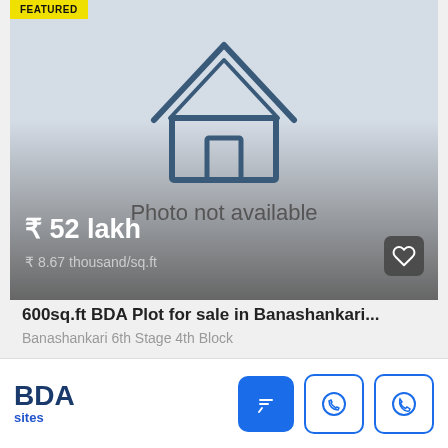[Figure (screenshot): Property listing card showing 'Photo not available' placeholder with a house outline icon, price ₹ 52 lakh, rate ₹ 8.67 thousand/sq.ft, a heart/save button, and a FEATURED badge at top-left.]
600sq.ft BDA Plot for sale in Banashankari...
Banashankari 6th Stage 4th Block
31333  East  PLOT
BDA sites  [Chat] [WhatsApp] [Call]